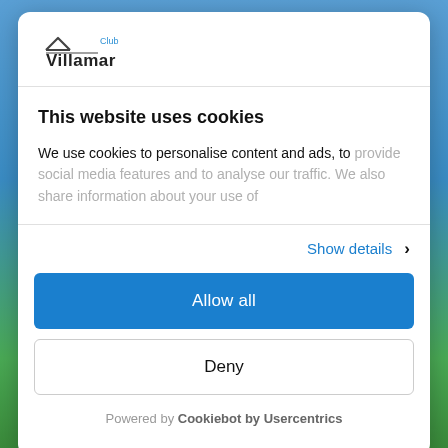[Figure (logo): Club Villamar logo with roof/house icon above the text 'Villamar' and 'Club' in blue]
This website uses cookies
We use cookies to personalise content and ads, to provide social media features and to analyse our traffic. We also share information about your use of
Show details ›
Allow all
Deny
Powered by Cookiebot by Usercentrics